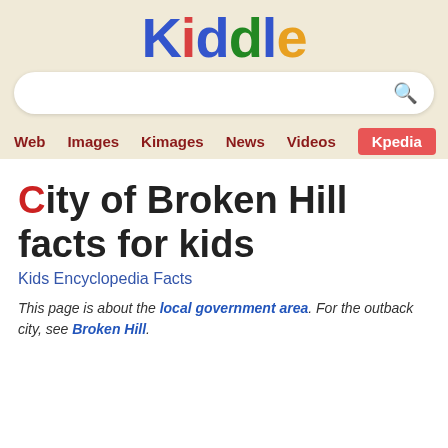[Figure (logo): Kiddle logo with colorful letters: K(blue), i(red), d(blue), d(green), l(blue), e(yellow) on a cream/tan background]
[Figure (other): Search box with rounded corners and a magnifying glass icon on the right, on cream background]
Web  Images  Kimages  News  Videos  Kpedia
City of Broken Hill facts for kids
Kids Encyclopedia Facts
This page is about the local government area. For the outback city, see Broken Hill.